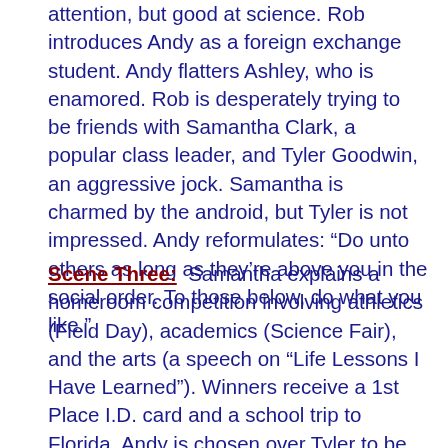attention, but good at science. Rob introduces Andy as a foreign exchange student. Andy flatters Ashley, who is enamored. Rob is desperately trying to be friends with Samantha Clark, a popular class leader, and Tyler Goodwin, an aggressive jock. Samantha is charmed by the android, but Tyler is not impressed. Andy reformulates: “Do unto others as long as they’re above you in the social order. To those below, do what you like.”
Scene Three: Samantha explains a homeroom competition involving athletics (Field Day), academics (Science Fair), and the arts (a speech on “Life Lessons I Have Learned”). Winners receive a 1st Place I.D. card and a school trip to Florida. Andy is chosen over Tyler to be Athletics’ Captain. Samantha mocks Ashley before letting her work with Rob and Andy on a project for the